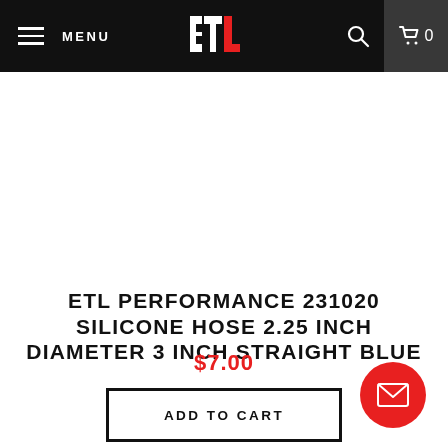MENU | ETL | Search | Cart 0
[Figure (photo): White product image area (blank/white product display area)]
ETL PERFORMANCE 231020 SILICONE HOSE 2.25 INCH DIAMETER 3 INCH STRAIGHT BLUE
$7.00
ADD TO CART